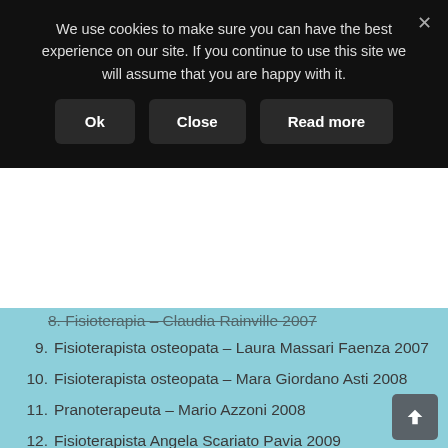We use cookies to make sure you can have the best experience on our site. If you continue to use this site we will assume that you are happy with it.
Ok | Close | Read more
8. Fisioterapia – Claudia Rainville 2007 (partially visible)
9. Fisioterapista osteopata – Laura Massari Faenza 2007
10. Fisioterapista osteopata – Mara Giordano Asti 2008
11. Pranoterapeuta – Mario Azzoni 2008
12. Fisioterapista Angela Scariato Pavia 2009
13. Chiropratico Andrea Vlacos Pavia 2009
14. Chiropratico Brice David San Rocco  Como 7 sedute 2009
15. Chiropratico Pieter Stockelynck San Rocco Como 10 sedute 2009